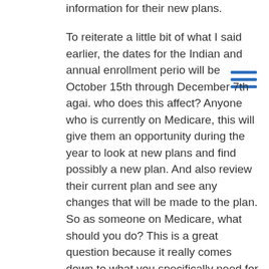information for their new plans.
To reiterate a little bit of what I said earlier, the dates for the Indian and annual enrollment period will be October 15th through December 7th again, who does this affect? Anyone who is currently on Medicare, this will give them an opportunity during the year to look at new plans and find possibly a new plan. And also review their current plan and see any changes that will be made to the plan. So as someone on Medicare, what should you do? This is a great question because it really comes down to what you specifically need for your medical care, how the past year has gone for you on the plan that you're currently on. And then finally also any changes that will occur to your plan. When I meet with my Medicare clients as a Plymouth insurance agent, I find that there's a few questions that I ask that will help you navigate the, what should I do portion of the annual enrollment period. First of all, I always